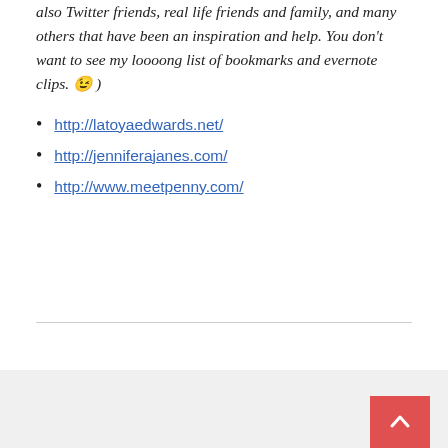also Twitter friends, real life friends and family, and many others that have been an inspiration and help. You don't want to see my loooong list of bookmarks and evernote clips. 😉 )
http://latoyaedwards.net/
http://jenniferajanes.com/
http://www.meetpenny.com/